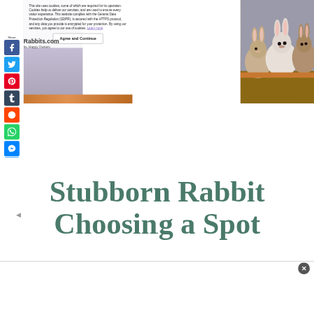[Figure (screenshot): Website screenshot of Rabbits.com showing a cookie consent banner overlay on a hero image of rabbits looking out a window, with a share sidebar on the left and the article title 'Stubborn Rabbit Choosing a Spot' below.]
This site uses cookies, some of which are required for its operation. Cookies help us deliver our services, and are used to ensure every visitor experience. This website complies with the General Data Protection Regulation (GDPR), is secured with the HTTPS protocol, and any data you provide is encrypted for your protection. By using our services, you agree to our use of cookies. Learn more
Agree and Continue
Stubborn Rabbit Choosing a Spot